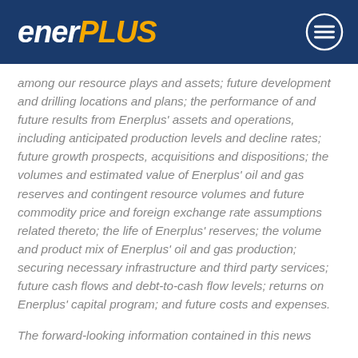[Figure (logo): Enerplus logo with white italic 'ener' and gold italic 'PLUS' text on dark blue background, with a circular menu icon on the right]
among our resource plays and assets; future development and drilling locations and plans; the performance of and future results from Enerplus' assets and operations, including anticipated production levels and decline rates; future growth prospects, acquisitions and dispositions; the volumes and estimated value of Enerplus' oil and gas reserves and contingent resource volumes and future commodity price and foreign exchange rate assumptions related thereto; the life of Enerplus' reserves; the volume and product mix of Enerplus' oil and gas production; securing necessary infrastructure and third party services; future cash flows and debt-to-cash flow levels; returns on Enerplus' capital program; and future costs and expenses.
The forward-looking information contained in this news